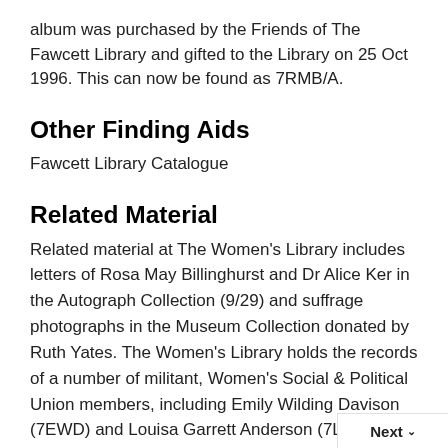album was purchased by the Friends of The Fawcett Library and gifted to the Library on 25 Oct 1996. This can now be found as 7RMB/A.
Other Finding Aids
Fawcett Library Catalogue
Related Material
Related material at The Women's Library includes letters of Rosa May Billinghurst and Dr Alice Ker in the Autograph Collection (9/29) and suffrage photographs in the Museum Collection donated by Ruth Yates. The Women's Library holds the records of a number of militant, Women's Social & Political Union members, including Emily Wilding Davison (7EWD) and Louisa Garrett Anderson (7LGA). The records of the Women's Social & Political Union included The